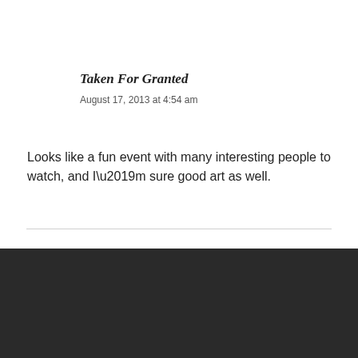Taken For Granted
August 17, 2013 at 4:54 am
Looks like a fun event with many interesting people to watch, and I’m sure good art as well.
© 2022 AUCKLAND – WEST — UP ↑